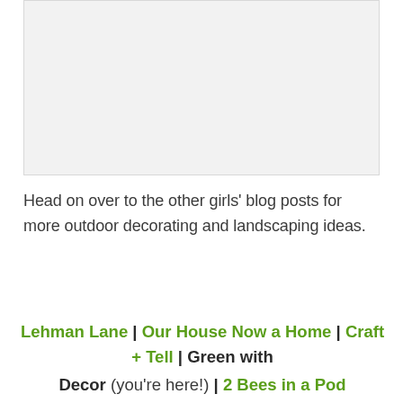[Figure (photo): Placeholder image area, light gray background]
Head on over to the other girls' blog posts for more outdoor decorating and landscaping ideas.
Lehman Lane | Our House Now a Home | Craft + Tell | Green with Decor (you're here!) | 2 Bees in a Pod